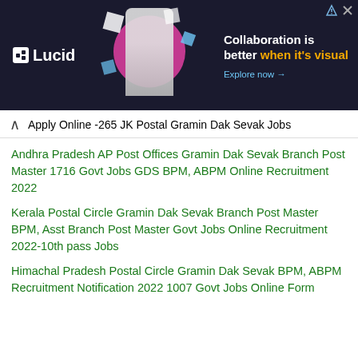[Figure (screenshot): Lucid advertisement banner with dark background showing 'Collaboration is better when it's visual' text and 'Explore now' CTA]
Apply Online -265 JK Postal Gramin Dak Sevak Jobs
Andhra Pradesh AP Post Offices Gramin Dak Sevak Branch Post Master 1716 Govt Jobs GDS BPM, ABPM Online Recruitment 2022
Kerala Postal Circle Gramin Dak Sevak Branch Post Master BPM, Asst Branch Post Master Govt Jobs Online Recruitment 2022-10th pass Jobs
Himachal Pradesh Postal Circle Gramin Dak Sevak BPM, ABPM Recruitment Notification 2022 1007 Govt Jobs Online Form